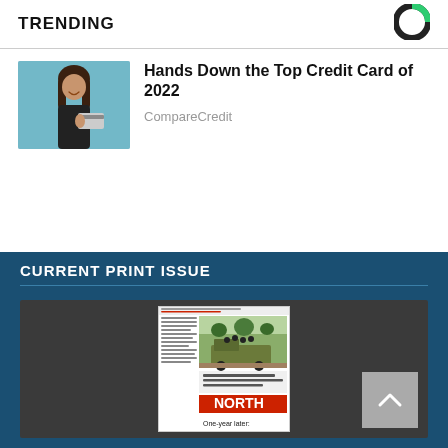TRENDING
[Figure (logo): Circular logo with dark and green segments on white background]
Hands Down the Top Credit Card of 2022
CompareCredit
[Figure (photo): Woman in black top smiling, holding a credit card against a teal/blue background]
CURRENT PRINT ISSUE
[Figure (photo): Newspaper front page showing a military parade scene with text 'NORTH' and 'One-year later:']